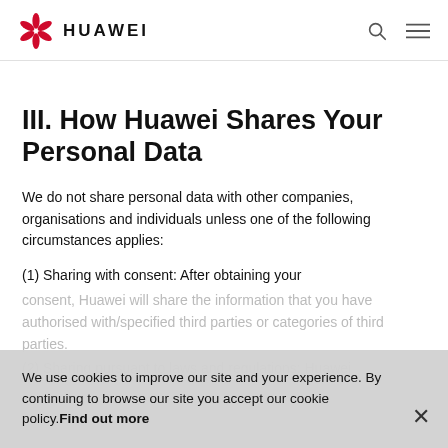HUAWEI
III. How Huawei Shares Your Personal Data
We do not share personal data with other companies, organisations and individuals unless one of the following circumstances applies:
(1) Sharing with consent: After obtaining your consent, Huawei will share the information that you have authorised with specified third parties or categories of third parties.
(2) Sharing pursuant to laws and regulations: Huawei
We use cookies to improve our site and your experience. By continuing to browse our site you accept our cookie policy. Find out more